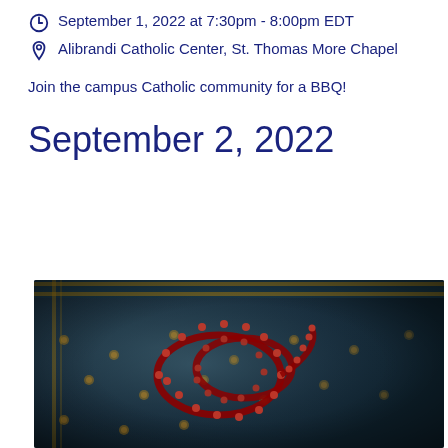September 1, 2022 at 7:30pm - 8:00pm EDT
Alibrandi Catholic Center, St. Thomas More Chapel
Join the campus Catholic community for a BBQ!
September 2, 2022
[Figure (photo): A dark blue ornate prayer rug with amber/orange floral patterns and a border design, with red prayer beads (rosary/tasbih) coiled on top of it. The photo is taken from an angle and is dimly lit.]